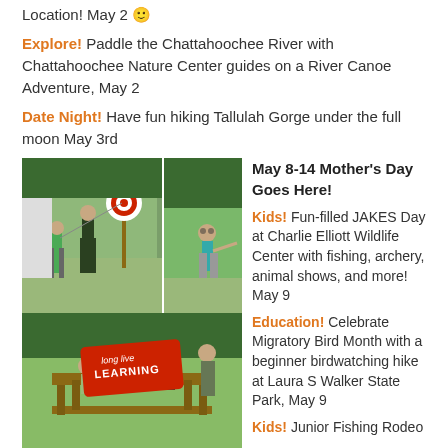Location! May 2 🙂
Explore! Paddle the Chattahoochee River with Chattahoochee Nature Center guides on a River Canoe Adventure, May 2
Date Night! Have fun hiking Tallulah Gorge under the full moon May 3rd
[Figure (photo): Collage of outdoor activity photos: archery with instructor and child, child pointing at target, adults and child at picnic table outdoors with 'Long Live Learning' badge overlay]
May 8-14 Mother's Day Goes Here!
Kids! Fun-filled JAKES Day at Charlie Elliott Wildlife Center with fishing, archery, animal shows, and more! May 9
Education! Celebrate Migratory Bird Month with a beginner birdwatching hike at Laura S Walker State Park, May 9
Kids! Junior Fishing Rodeo